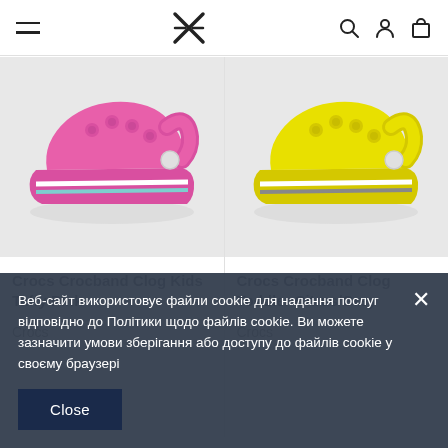Navigation header with menu, logo, search, account, and cart icons
[Figure (photo): Pink Crocs Crocband Clog Kids Taffy Pink shoe on grey background]
Crocs Crocband Clog Kids Taffy Pink
Crocs
[Figure (photo): Yellow/Citrus Crocs Crocband Clog Toddler Citrus/Grey shoe on grey background]
Crocs Crocband Clog Toddler Citrus/Grey
Crocs
Веб-сайт використовує файли cookie для надання послуг відповідно до Політики щодо файлів cookie. Ви можете зазначити умови зберігання або доступу до файлів cookie у своєму браузері
Close